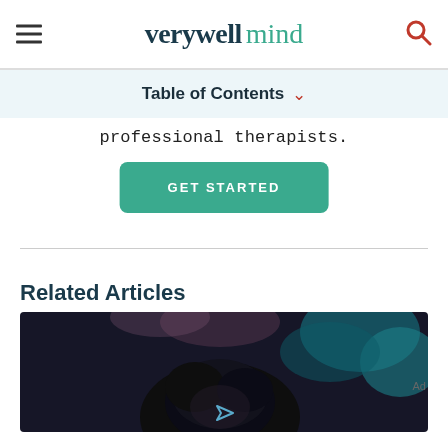verywell mind
Table of Contents ▾
professional therapists.
GET STARTED
Related Articles
[Figure (photo): A person with dark hair viewed from above, blurred background with dark and teal tones, suggesting distress or contemplation.]